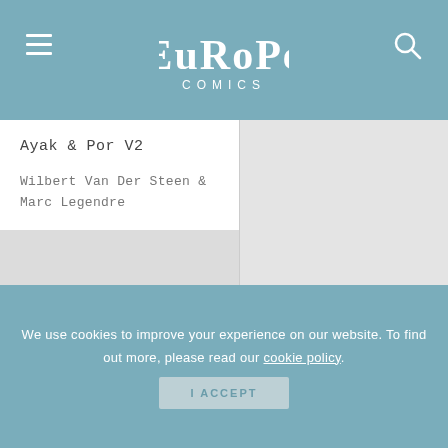Europe Comics
Ayak & Por V2
Wilbert Van Der Steen & Marc Legendre
We use cookies to improve your experience on our website. To find out more, please read our cookie policy.